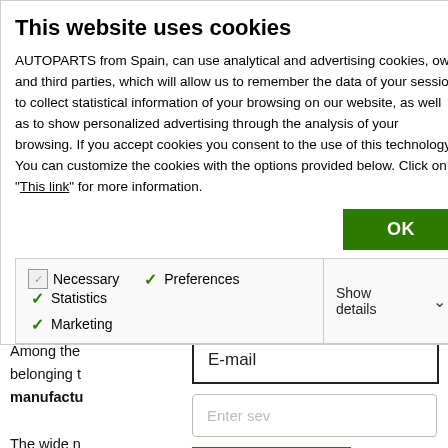This website uses cookies
AUTOPARTS from Spain, can use analytical and advertising cookies, own and third parties, which will allow us to remember the data of your session to collect statistical information of your browsing on our website, as well as to show personalized advertising through the analysis of your browsing. If you accept cookies you consent to the use of this technology. You can customize the cookies with the options provided below. Click on "This link" for more information.
OK
Necessary  Preferences  Statistics  Marketing  Show details
Among the belonging t manufactu
E-mail
Enter sev
The wide n which go f diagnosis e tools such
[Figure (other): CAPTCHA image with letters s, v, e in distorted text]